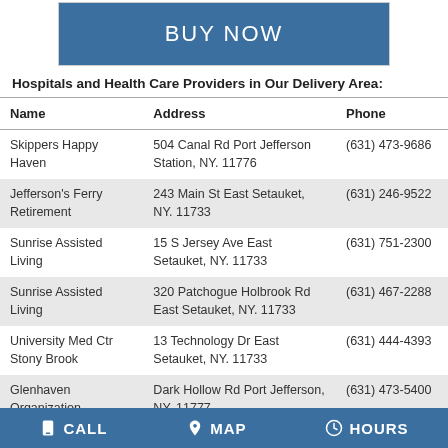[Figure (other): Blue BUY NOW button]
Hospitals and Health Care Providers in Our Delivery Area:
| Name | Address | Phone |
| --- | --- | --- |
| Skippers Happy Haven | 504 Canal Rd Port Jefferson Station, NY. 11776 | (631) 473-9686 |
| Jefferson's Ferry Retirement | 243 Main St East Setauket, NY. 11733 | (631) 246-9522 |
| Sunrise Assisted Living | 15 S Jersey Ave East Setauket, NY. 11733 | (631) 751-2300 |
| Sunrise Assisted Living | 320 Patchogue Holbrook Rd East Setauket, NY. 11733 | (631) 467-2288 |
| University Med Ctr Stony Brook | 13 Technology Dr East Setauket, NY. 11733 | (631) 444-4393 |
| Glenhaven Organization | Dark Hollow Rd Port Jefferson, NY. 11777 | (631) 473-5400 |
CALL   MAP   HOURS